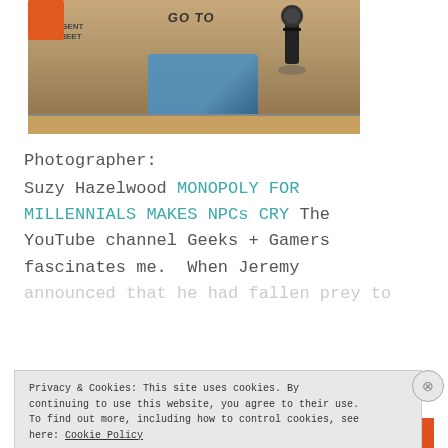[Figure (photo): Close-up photo of a Monopoly board game showing the GO TO corner, Regent Street card, a blue property card, a game piece, and the board surface with orange and tan colors.]
Photographer:
Suzy Hazelwood MONOPOLY FOR MILLENNIALS MAKES NPCs CRY The YouTube channel Geeks + Gamers fascinates me. When Jeremy announced that he had fallen prey to
Privacy & Cookies: This site uses cookies. By continuing to use this website, you agree to their use. To find out more, including how to control cookies, see here: Cookie Policy
Close and accept